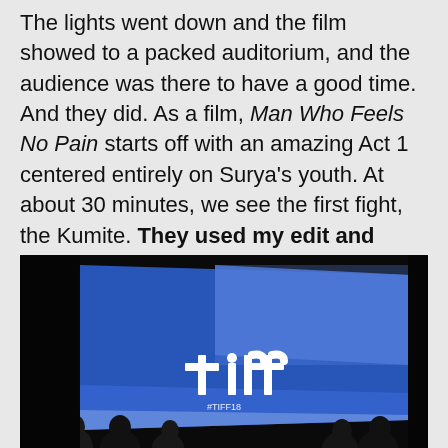The lights went down and the film showed to a packed auditorium, and the audience was there to have a good time. And they did. As a film, Man Who Feels No Pain starts off with an amazing Act 1 centered entirely on Surya's youth. At about 30 minutes, we see the first fight, the Kumite. They used my edit and sound design.
[Figure (photo): A TIFF (Toronto International Film Festival) branded screen/display lit in blue with the white 'tiff' logo and '#TIFF18' text below, with silhouettes of audience members in the foreground, on a dark background.]